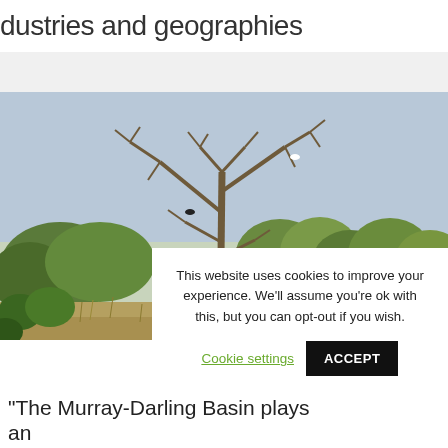dustries and geographies
[Figure (photo): Outdoor landscape photograph showing a dead bare tree with branches against a pale blue sky, surrounded by green eucalyptus scrubland and dry grassy ground, typical Australian outback/Murray-Darling Basin scenery.]
This website uses cookies to improve your experience. We'll assume you're ok with this, but you can opt-out if you wish.
Cookie settings  ACCEPT
“The Murray-Darling Basin plays an